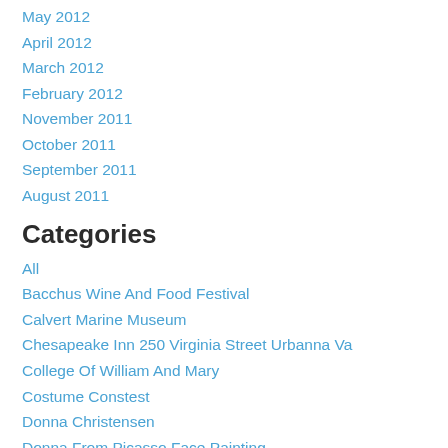May 2012
April 2012
March 2012
February 2012
November 2011
October 2011
September 2011
August 2011
Categories
All
Bacchus Wine And Food Festival
Calvert Marine Museum
Chesapeake Inn 250 Virginia Street Urbanna Va
College Of William And Mary
Costume Constest
Donna Christensen
Donna From Picasso Face Painting
Face And Body Artist
Face And Body Painter
Face Art